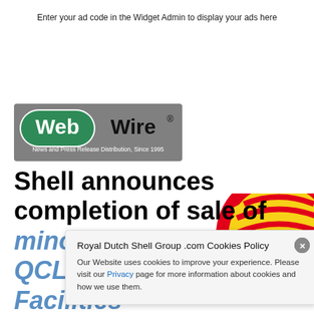Enter your ad code in the Widget Admin to display your ads here
[Figure (logo): WebWire logo — grey background rectangle with green rounded badge containing white bold 'Web' and black bold 'Wire' with registered trademark symbol, tagline: News and Press Release Distribution, Since 1995]
Shell announces completion of sale of minority interest in QCLNG Common Facilities infrastructure to Global Infrastructure
[Figure (logo): Shell pecten logo — partial view of red and yellow shell emblem on white background]
Royal Dutch Shell Group .com Cookies Policy
Our Website uses cookies to improve your experience. Please visit our Privacy page for more information about cookies and how we use them.